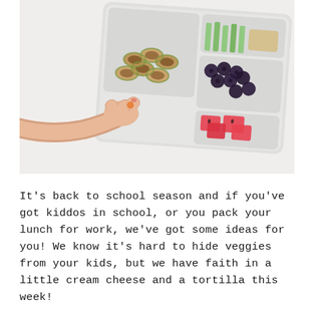[Figure (photo): Overhead/angled photo of a bento-style lunch box with tortilla pinwheel roll-ups, celery sticks, blackberries, and watermelon cubes in separate compartments. A hand reaches in holding a small orange piece of food.]
It's back to school season and if you've got kiddos in school, or you pack your lunch for work, we've got some ideas for you! We know it's hard to hide veggies from your kids, but we have faith in a little cream cheese and a tortilla this week!